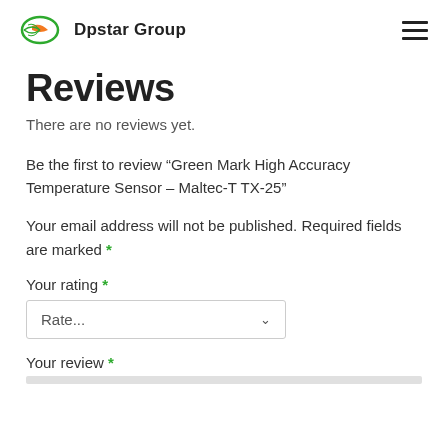Dpstar Group
Reviews
There are no reviews yet.
Be the first to review “Green Mark High Accuracy Temperature Sensor – Maltec-T TX-25”
Your email address will not be published. Required fields are marked *
Your rating *
Rate...
Your review *